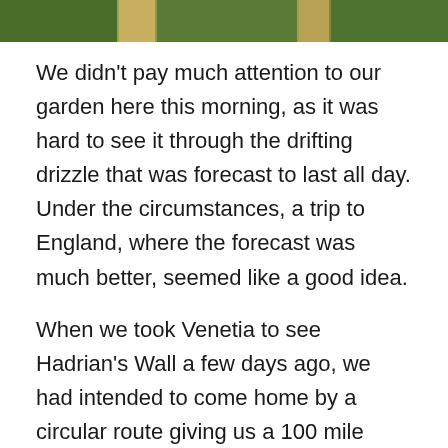[Figure (photo): Partial strip photo of a garden scene with green foliage and wooden fence posts]
We didn't pay much attention to our garden here this morning, as it was hard to see it through the drifting drizzle that was forecast to last all day. Under the circumstances, a trip to England, where the forecast was much better, seemed like a good idea.
When we took Venetia to see Hadrian's Wall a few days ago, we had intended to come home by a circular route giving us a 100 mile round trip. In the event, we failed to get a free charging point at the car park to work, got a bit timid about range, and came back from the